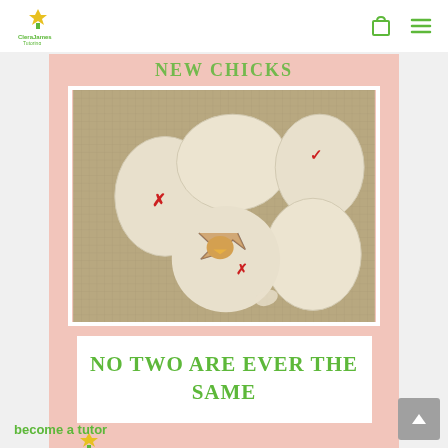CleraJames Tutoring — navigation bar with logo, cart and menu icons
[Figure (photo): Close-up photo of several white eggs on a mesh incubator tray; one egg in the center is cracking open with a chick hatching out. Some eggs have red X or checkmarks written on them.]
NO TWO ARE EVER THE SAME
[Figure (logo): CleraJames Tutoring logo — yellow flower/bird icon above text 'CleraJames Tutoring']
become a tutor